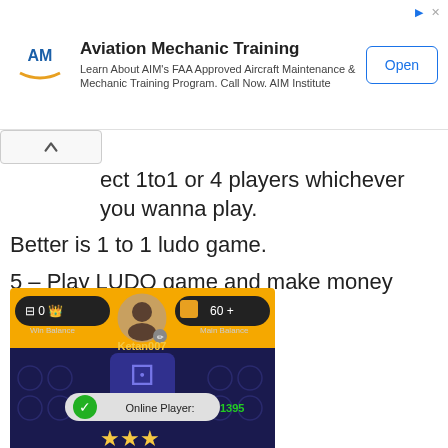[Figure (screenshot): Aviation Mechanic Training advertisement banner with AIM logo, text about FAA Approved Aircraft Maintenance & Mechanic Training Program, and an Open button]
ect 1to1 or 4 players whichever you wanna play.
Better is 1 to 1 ludo game.
5 – Play LUDO game and make money daily.
[Figure (screenshot): Ludo game app screenshot showing user Ketan007 with Win Balance 0 and Main Balance 60, glowing dice background, Online Player: 1395 badge, and three gold stars at the bottom]